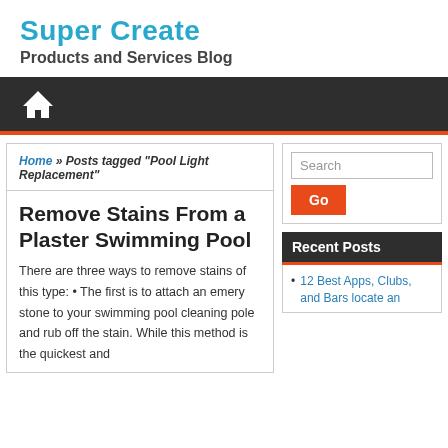Super Create
Products and Services Blog
[Figure (other): Navigation bar with dark background and white home icon, with orange bottom border]
Home » Posts tagged "Pool Light Replacement"
Remove Stains From a Plaster Swimming Pool
There are three ways to remove stains of this type: • The first is to attach an emery stone to your swimming pool cleaning pole and rub off the stain. While this method is the quickest and
Search
Recent Posts
12 Best Apps, Clubs, and Bars locate an